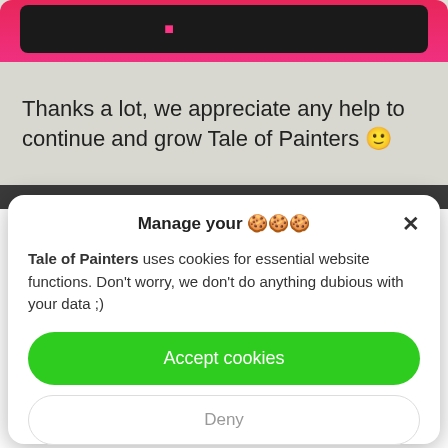[Figure (screenshot): Pink/red gradient banner with black bar containing pink text at top of page]
Thanks a lot, we appreciate any help to continue and grow Tale of Painters 🙂
Manage your 🍪🍪🍪 ✕
Tale of Painters uses cookies for essential website functions. Don't worry, we don't do anything dubious with your data ;)
Accept cookies
Deny
View preferences